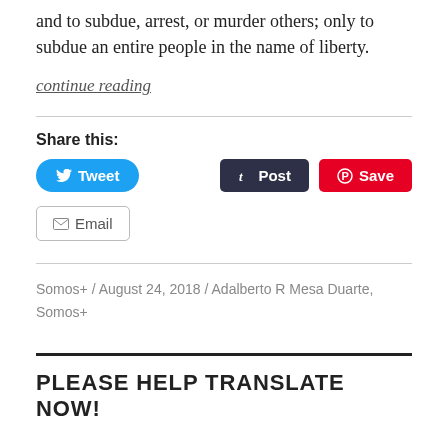and to subdue, arrest, or murder others; only to subdue an entire people in the name of liberty.
continue reading
Share this:
[Figure (other): Social share buttons: Tweet (Twitter, blue), Post (Tumblr, dark), Save (Pinterest, red), Email (grey outlined)]
Somos+ / August 24, 2018 / Adalberto R Mesa Duarte, Somos+
PLEASE HELP TRANSLATE NOW!